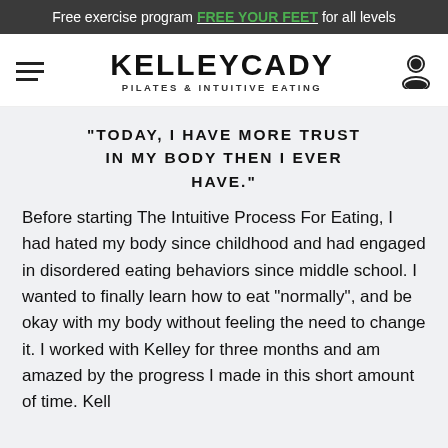Free exercise program FREE YOUR FEET for all levels
[Figure (logo): Kelley Cady Pilates & Intuitive Eating logo with hamburger menu and user icon]
"TODAY, I HAVE MORE TRUST IN MY BODY THEN I EVER HAVE."
Before starting The Intuitive Process For Eating, I had hated my body since childhood and had engaged in disordered eating behaviors since middle school. I wanted to finally learn how to eat “normally”, and be okay with my body without feeling the need to change it. I worked with Kelley for three months and am amazed by the progress I made in this short amount of time. Kell